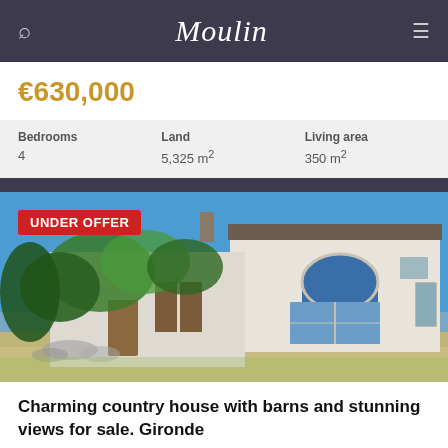Moulin
€630,000
| Bedrooms | Land | Living area |
| --- | --- | --- |
| 4 | 5,325 m² | 350 m² |
[Figure (photo): Exterior photo of a charming white country house with ivy, wooden shutters, blue arch window, and blue sky background. Badge reading UNDER OFFER in top left.]
Charming country house with barns and stunning views for sale. Gironde
Aquitaine, Gironde (33)